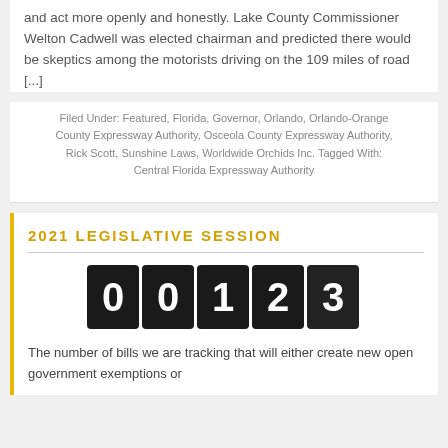and act more openly and honestly. Lake County Commissioner Welton Cadwell was elected chairman and predicted there would be skeptics among the motorists driving on the 109 miles of road [...]
Filed Under: Featured, Florida, Governor, Orlando, Orlando-Orange County Expressway Authority, Osceola County Expressway Authority, Rick Scott, Sunshine Laws, Worldwide Orchids Inc. Tagged With: Central Florida Expressway Authority
2021 LEGISLATIVE SESSION
[Figure (other): Odometer/counter display showing the number 00123 in white digits on black background tiles]
The number of bills we are tracking that will either create new open government exemptions or